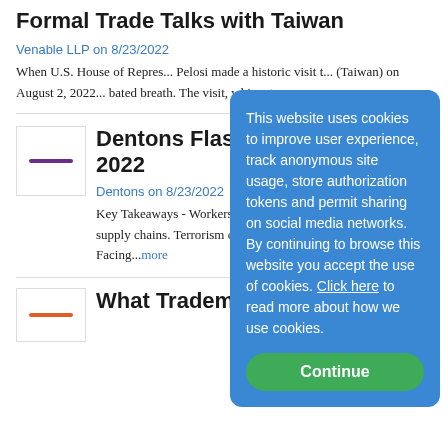Formal Trade Talks with Taiwan
Venable LLP on 8/23/2022
When U.S. House of Repres... Pelosi made a historic visit t... (Taiwan) on August 2, 2022... bated breath. The visit, whic... two...more
Dentons Flashpe... 2022
Dentons on 8/23/2022
Key Takeaways - Workers a... port strike over pay, with sh... supply chains. Terrorism cha... Pakistani Prime Minister Kh... Facing...more
What Trademark Holders
This website uses cookies to improve user experience, track anonymous site usage, store authorization tokens and permit sharing on social media networks. By continuing to browse this website you accept the use of cookies. Click here to read more about how we use cookies.
Continue